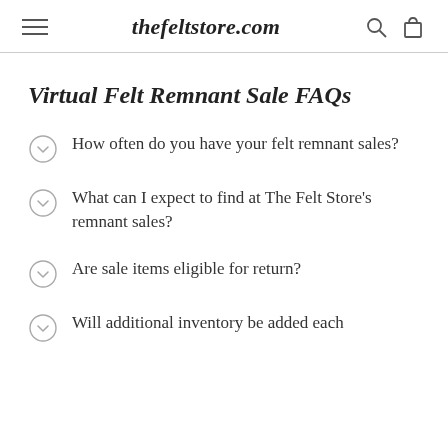thefeltstore.com
Virtual Felt Remnant Sale FAQs
How often do you have your felt remnant sales?
What can I expect to find at The Felt Store's remnant sales?
Are sale items eligible for return?
Will additional inventory be added each